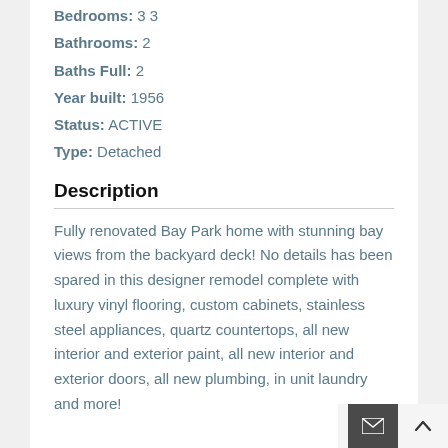Bedrooms: 3 3
Bathrooms: 2
Baths Full: 2
Year built: 1956
Status: ACTIVE
Type: Detached
Description
Fully renovated Bay Park home with stunning bay views from the backyard deck! No details has been spared in this designer remodel complete with luxury vinyl flooring, custom cabinets, stainless steel appliances, quartz countertops, all new interior and exterior paint, all new interior and exterior doors, all new plumbing, in unit laundry and more!